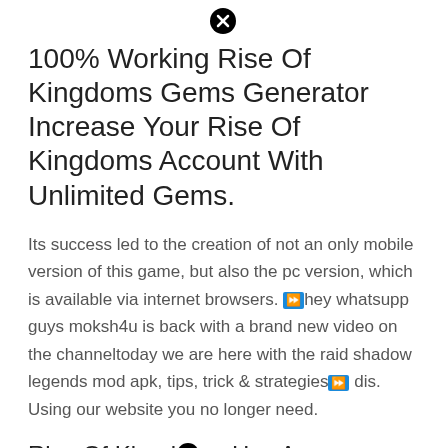100% Working Rise Of Kingdoms Gems Generator Increase Your Rise Of Kingdoms Account With Unlimited Gems.
Its success led to the creation of not an only mobile version of this game, but also the pc version, which is available via internet browsers. ⏩hey whatsupp guys moksh4u is back with a brand new video on the channeltoday we are here with the raid shadow legends mod apk, tips, trick & strategies⏩ dis. Using our website you no longer need.
Rise Of Kingdoms Has A